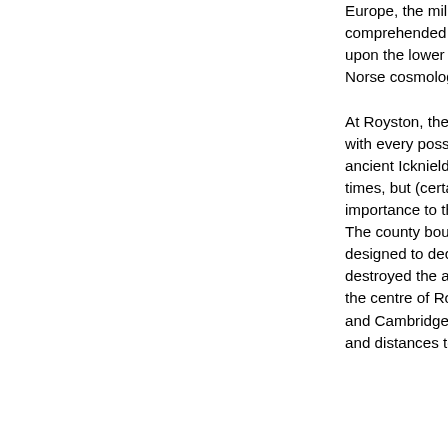Europe, the millstones wo system. Here, the stones comprehended a concep times - the flat Earth belie upon the lower just as the to rotate upon the fixed E Norse cosmological term north'. At Royston, then, we hav the greatest importance, with every possible featu pre-eminent position at th ancient Icknield Way and Ermine Street. These roa times, but (certainly in the ancienter provenance, w importance to the geoma dividing administrative dis The county boundaries o gerrymandering boundar designed to deculturise th getting certain parties ele destroyed the ancient shi Saxons a thousand years the centre of Royston wa boundary point of the two and Cambridgeshire; mo boundaries were taken to and distances to and from